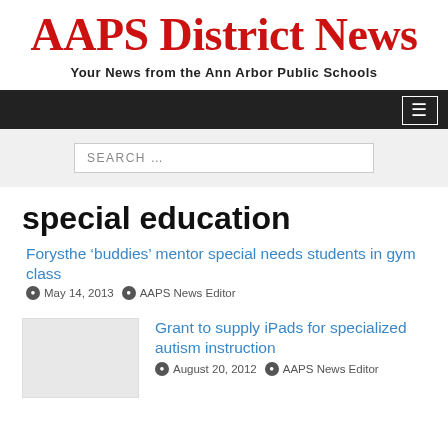AAPS District News
Your News from the Ann Arbor Public Schools
SEARCH …
special education
Forysthe 'buddies' mentor special needs students in gym class
May 14, 2013   AAPS News Editor
Grant to supply iPads for specialized autism instruction
August 20, 2012   AAPS News Editor